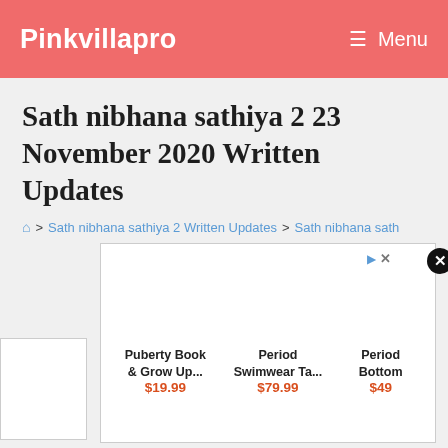Pinkvillapro   ☰ Menu
Sath nibhana sathiya 2 23 November 2020 Written Updates
🏠 > Sath nibhana sathiya 2 Written Updates > Sath nibhana sath
[Figure (screenshot): Advertisement panel showing products: Puberty Book & Grow Up... $19.99, Period Swimwear Ta... $79.99, Period Bottom $49 with close (X) button overlay]